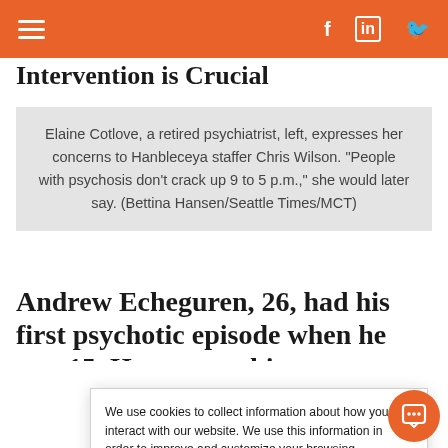☰  f  in  🐦
Intervention is Crucial
Elaine Cotlove, a retired psychiatrist, left, expresses her concerns to Hanbleceya staffer Chris Wilson. "People with psychosis don't crack up 9 to 5 p.m.," she would later say. (Bettina Hansen/Seattle Times/MCT)
Andrew Echeguren, 26, had his first psychotic episode when he was 15. He was working as an
We use cookies to collect information about how you interact with our website. We use this information in order to improve and customize your browsing experience and for analytics and metrics about our visitors both on this website and other media. To find out more about the cookies we use, see our Privacy Policy.

If you decline, your information won't be tracked
Install this web app on your iPhone. Tap  and then Add to Home Screen.